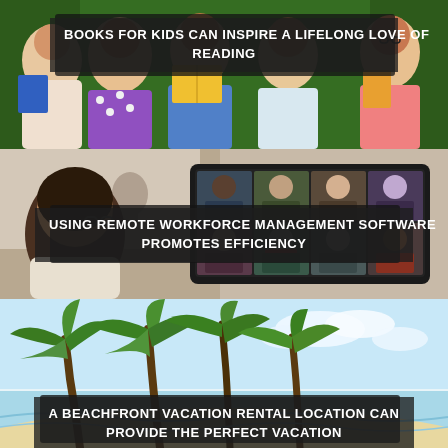[Figure (photo): Children holding books in front of a green background, smiling and reading]
BOOKS FOR KIDS CAN INSPIRE A LIFELONG LOVE OF READING
[Figure (photo): Woman with glasses working remotely, with a video call screen showing multiple participants in a grid]
USING REMOTE WORKFORCE MANAGEMENT SOFTWARE PROMOTES EFFICIENCY
[Figure (photo): Tropical beachfront scene with palm trees, white sand, and clear blue ocean water]
A BEACHFRONT VACATION RENTAL LOCATION CAN PROVIDE THE PERFECT VACATION